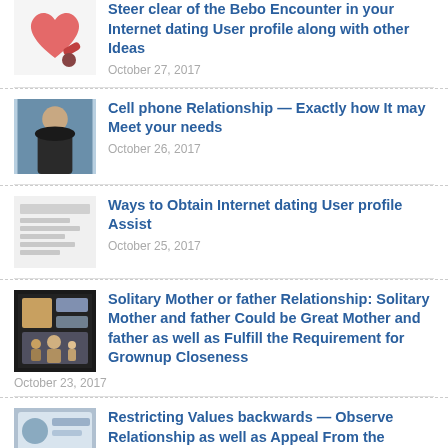Steer clear of the Bebo Encounter in your Internet dating User profile along with other Ideas — October 27, 2017
Cell phone Relationship — Exactly how It may Meet your needs — October 26, 2017
Ways to Obtain Internet dating User profile Assist — October 25, 2017
Solitary Mother or father Relationship: Solitary Mother and father Could be Great Mother and father as well as Fulfill the Requirement for Grownup Closeness — October 23, 2017
Restricting Values backwards — Observe Relationship as well as Appeal From the Female's